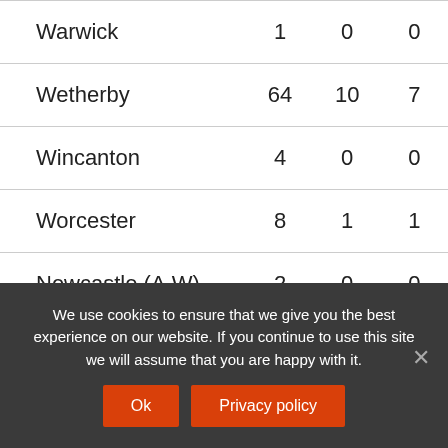| Warwick | 1 | 0 | 0 |
| Wetherby | 64 | 10 | 7 |
| Wincanton | 4 | 0 | 0 |
| Worcester | 8 | 1 | 1 |
| Newcastle (A.W) | 2 | 0 | 0 |
We use cookies to ensure that we give you the best experience on our website. If you continue to use this site we will assume that you are happy with it.